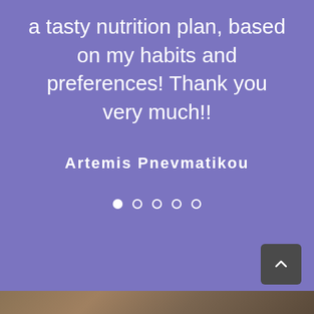a tasty nutrition plan, based on my habits and preferences! Thank you very much!!
Artemis Pnevmatikou
[Figure (other): Carousel navigation dots: one filled white circle and four empty circles]
[Figure (other): Dark gray rounded square button with upward chevron arrow (back to top)]
[Figure (photo): Partial view of a food or nature photo at the bottom strip of the page]